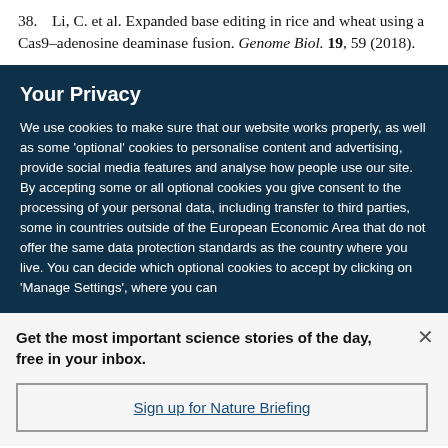38. Li, C. et al. Expanded base editing in rice and wheat using a Cas9-adenosine deaminase fusion. Genome Biol. 19, 59 (2018).
Your Privacy
We use cookies to make sure that our website works properly, as well as some 'optional' cookies to personalise content and advertising, provide social media features and analyse how people use our site. By accepting some or all optional cookies you give consent to the processing of your personal data, including transfer to third parties, some in countries outside of the European Economic Area that do not offer the same data protection standards as the country where you live. You can decide which optional cookies to accept by clicking on 'Manage Settings', where you can
Get the most important science stories of the day, free in your inbox.
Sign up for Nature Briefing